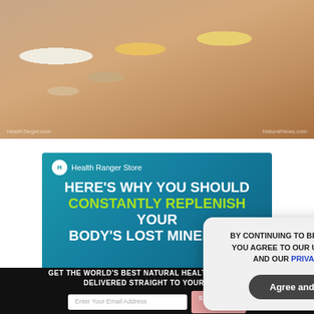[Figure (photo): Close-up photo of a hand holding multiple vitamin/supplement tablets and capsules in white, beige, and yellow colors. Watermarks: HealthTarget.com (left) and NaturalNews.com (right).]
[Figure (infographic): Health Ranger Store advertisement banner on teal/blue background with text: HERE'S WHY YOU SHOULD CONSTANTLY REPLENISH YOUR BODY'S LOST MINERALS!]
GET THE WORLD'S BEST NATURAL HEALTH NEWSLETTER DELIVERED STRAIGHT TO YOUR INBOX
Enter Your Email Address
SUBSCRIBE
[Figure (screenshot): Cookie consent popup dialog with text: BY CONTINUING TO BROWSE OUR SITE YOU AGREE TO OUR USE OF COOKIES AND OUR PRIVACY POLICY. with an Agree and close button and X close button.]